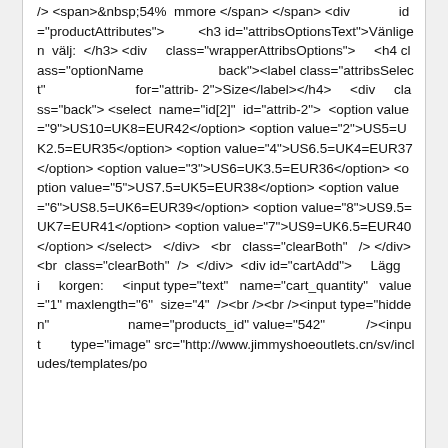/> <span>&nbsp;54%   mmore </span> </span> <div id="productAttributes"> <h3 id="attribsOptionsText">Vänligen välj: </h3> <div class="wrapperAttribsOptions"> <h4 class="optionName back"><label class="attribsSelect" for="attrib-2">Size</label></h4> <div class="back"> <select name="id[2]" id="attrib-2"> <option value="9">US10=UK8=EUR42</option> <option value="2">US5=UK2.5=EUR35</option> <option value="4">US6.5=UK4=EUR37</option> <option value="3">US6=UK3.5=EUR36</option> <option value="5">US7.5=UK5=EUR38</option> <option value="6">US8.5=UK6=EUR39</option> <option value="8">US9.5=UK7=EUR41</option> <option value="7">US9=UK6.5=EUR40</option> </select> </div> <br class="clearBoth" /> </div> <br class="clearBoth" /> </div> <div id="cartAdd"> Lägg i korgen: <input type="text" name="cart_quantity" value="1" maxlength="6" size="4" /><br /><br /><input type="hidden" name="products_id" value="542" /><input type="image" src="http://www.jimmyshoeoutlets.cn/sv/includes/templates/po